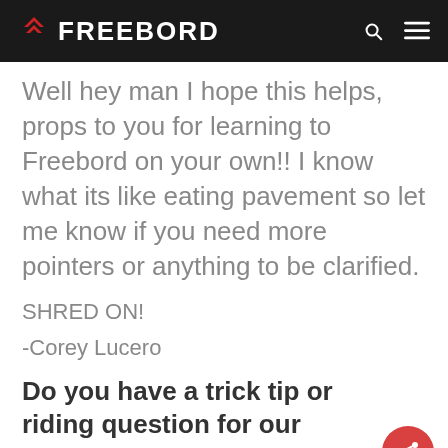FREEBORD
Well hey man I hope this helps, props to you for learning to Freebord on your own!! I know what its like eating pavement so let me know if you need more pointers or anything to be clarified.
SHRED ON!
-Corey Lucero
Do you have a trick tip or riding question for our Freebord Pros?